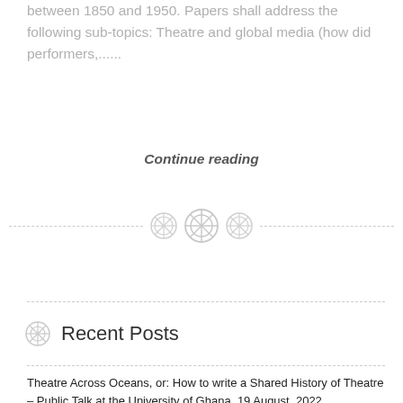between 1850 and 1950. Papers shall address the following sub-topics: Theatre and global media (how did performers,......
Continue reading
[Figure (other): Three decorative button/gear icons with dashed horizontal divider lines on either side]
Recent Posts
Theatre Across Oceans, or: How to write a Shared History of Theatre – Public Talk at the University of Ghana, 19 August, 2022
Über Wachsamkeit und Vigilanz – Interview mit dem SfB 1369, Vigilanzkulturen